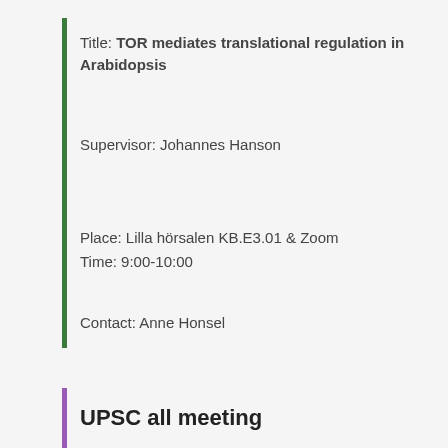Title: TOR mediates translational regulation in Arabidopsis
Supervisor: Johannes Hanson
Place: Lilla hörsalen KB.E3.01 & Zoom
Time: 9:00-10:00
Contact: Anne Honsel
UPSC all meeting